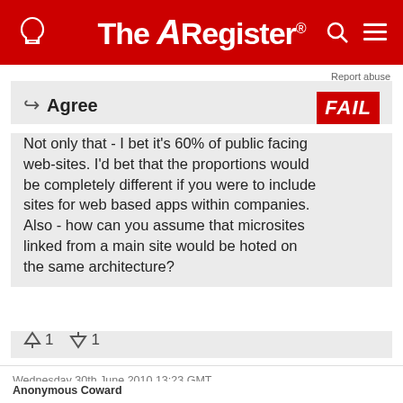The Register
Report abuse
Agree
Not only that - I bet it's 60% of public facing web-sites. I'd bet that the proportions would be completely different if you were to include sites for web based apps within companies. Also - how can you assume that microsites linked from a main site would be hoted on the same architecture?
↑1  ↓1
Wednesday 30th June 2010 13:23 GMT
Anonymous Coward
Report abuse
Good article.
Interesting and well written.